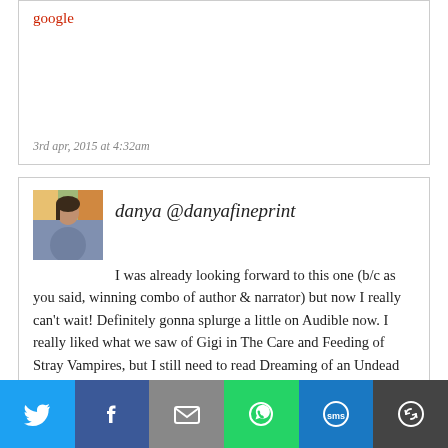google
3rd apr, 2015 at 4:32am
danya @danyafineprint
I was already looking forward to this one (b/c as you said, winning combo of author & narrator) but now I really can't wait! Definitely gonna splurge a little on Audible now. I really liked what we saw of Gigi in The Care and Feeding of Stray Vampires, but I still need to read Dreaming of an Undead Christmas before diving into this one. Glad it was such a fun ride!
Danya recently posted...Review: Etiquette & Espionage by Gail Carriger
3rd apr, 2015 at 9:13am
[Figure (infographic): Social share bar with Twitter, Facebook, Email, WhatsApp, SMS, and More buttons]